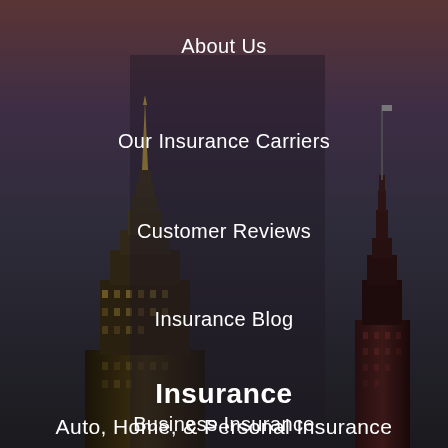About Us
Our Insurance Carriers
Customer Reviews
Insurance Blog
Insurance
Auto, Home, & Personal Insurance
Business Insurance
[Figure (photo): Night cityscape with two illuminated skyscraper towers against a dark reddish-gray sky, serving as background for an insurance company navigation menu]